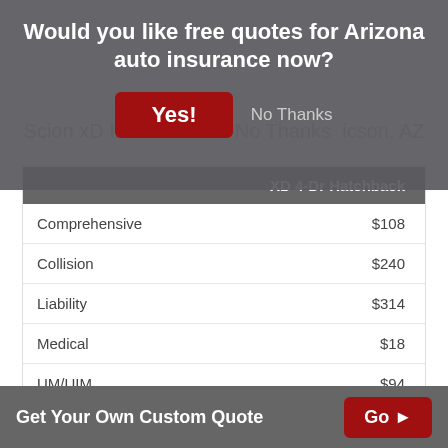Would you like free quotes for Arizona auto insurance now?
Yes!  No Thanks
Scion xD Insurance Rates in Tucson, AZ
|  | XD 4-Dr Hatchback |
| --- | --- |
| Comprehensive | $108 |
| Collision | $240 |
| Liability | $314 |
| Medical | $18 |
| UM/UIM | $94 |
| Annual Premium | $774 |
| Monthly Premium | $65 |
Get Your Own Custom Quote  Go ▶